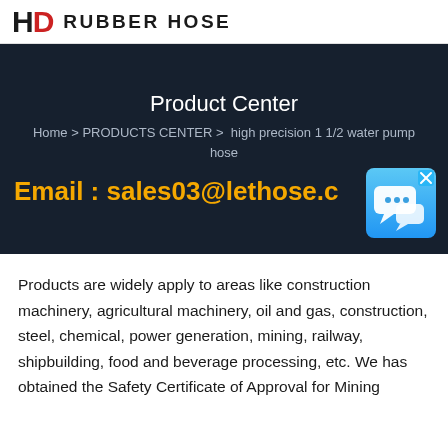HD RUBBER HOSE
Product Center
Home > PRODUCTS CENTER >  high precision 1 1/2 water pump hose
Email : sales03@lethose.c
[Figure (illustration): Chat bubble icon with blue gradient background and white speech bubbles, with an X close button in the top right corner]
Products are widely apply to areas like construction machinery, agricultural machinery, oil and gas, construction, steel, chemical, power generation, mining, railway, shipbuilding, food and beverage processing, etc. We has obtained the Safety Certificate of Approval for Mining